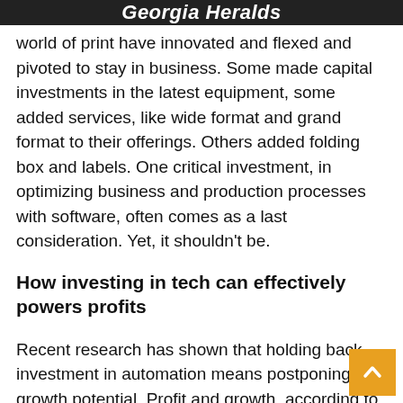Georgia Heralds
world of print have innovated and flexed and pivoted to stay in business. Some made capital investments in the latest equipment, some added services, like wide format and grand format to their offerings. Others added folding box and labels. One critical investment, in optimizing business and production processes with software, often comes as a last consideration. Yet, it shouldn’t be.
How investing in tech can effectively powers profits
Recent research has shown that holding back investment in automation means postponing growth potential. Profit and growth, according to reports, are the direct result of incorporating automation into your workflow. Insights into the most efficient and profitable printers shows that